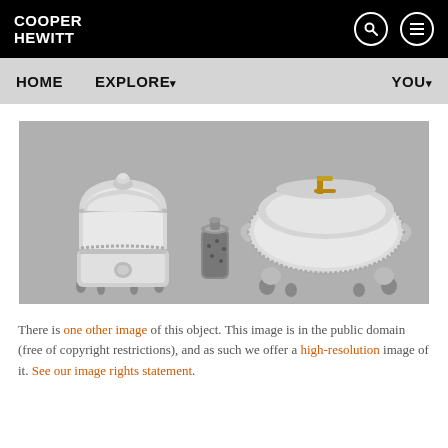COOPER HEWITT
HOME   EXPLORE▾   YOU▾
[Figure (photo): Three silver objects on a gray background: a small ornate covered box on the left, a small cylindrical container in the center, and a large ornate covered tureen on the right, all appearing to be antique silverware.]
There is one other image of this object. This image is in the public domain (free of copyright restrictions), and as such we offer a high-resolution image of it. See our image rights statement.